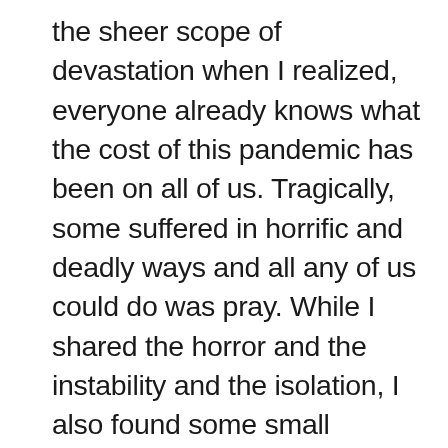the sheer scope of devastation when I realized, everyone already knows what the cost of this pandemic has been on all of us. Tragically, some suffered in horrific and deadly ways and all any of us could do was pray. While I shared the horror and the instability and the isolation, I also found some small measure of peace. I could only control the tiny sphere that became my world and even that was an illusion. Still it was one I needed. An illusion I clung to for all it's worth. I wanted to remain steady and hopeful for my family in the